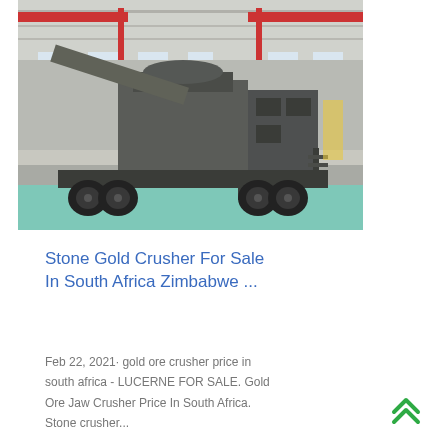[Figure (photo): A mobile stone/gold crusher machine on a wheeled trailer, photographed inside an industrial warehouse with overhead cranes and steel structure roof. The machine is grey/dark colored with a conveyor belt attachment.]
Stone Gold Crusher For Sale In South Africa Zimbabwe ...
Feb 22, 2021· gold ore crusher price in south africa - LUCERNE FOR SALE. Gold Ore Jaw Crusher Price In South Africa. Stone crusher...